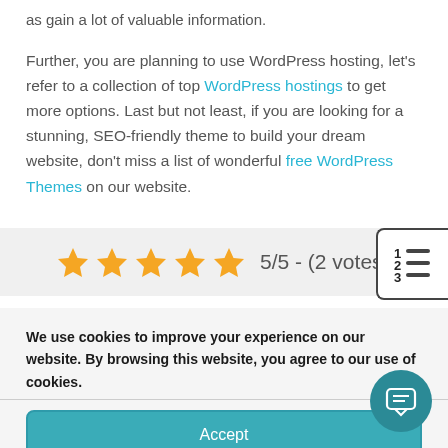as gain a lot of valuable information. Further, you are planning to use WordPress hosting, let's refer to a collection of top WordPress hostings to get more options. Last but not least, if you are looking for a stunning, SEO-friendly theme to build your dream website, don't miss a list of wonderful free WordPress Themes on our website.
[Figure (infographic): Five gold stars rating widget showing 5/5 - (2 votes) with a table of contents icon on the right]
We use cookies to improve your experience on our website. By browsing this website, you agree to our use of cookies.
Accept
Cookie Policy